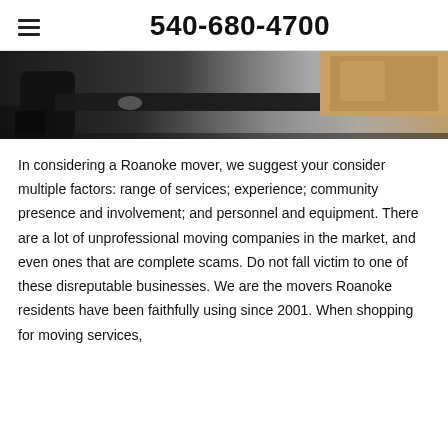540-680-4700
[Figure (photo): Close-up photo of a dark glass/black office desk surface with a black chair arm visible on the left and a wooden cabinet in the upper right background.]
In considering a Roanoke mover, we suggest your consider multiple factors: range of services; experience; community presence and involvement; and personnel and equipment.  There are a lot of unprofessional moving companies in the market, and even ones that are complete scams.  Do not fall victim to one of these disreputable businesses.   We are the movers Roanoke residents have been faithfully using since 2001.  When shopping for moving services,